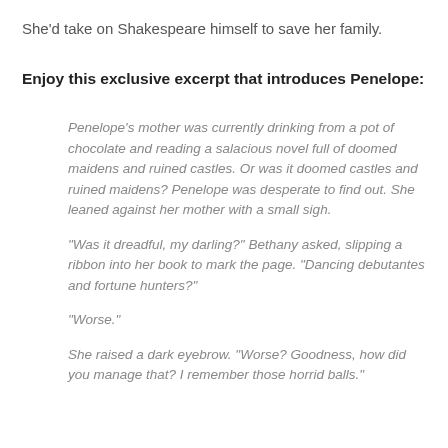She'd take on Shakespeare himself to save her family.
Enjoy this exclusive excerpt that introduces Penelope:
Penelope’s mother was currently drinking from a pot of chocolate and reading a salacious novel full of doomed maidens and ruined castles. Or was it doomed castles and ruined maidens? Penelope was desperate to find out. She leaned against her mother with a small sigh.
“Was it dreadful, my darling?” Bethany asked, slipping a ribbon into her book to mark the page. “Dancing debutantes and fortune hunters?”
“Worse.”
She raised a dark eyebrow. “Worse? Goodness, how did you manage that? I remember those horrid balls.”